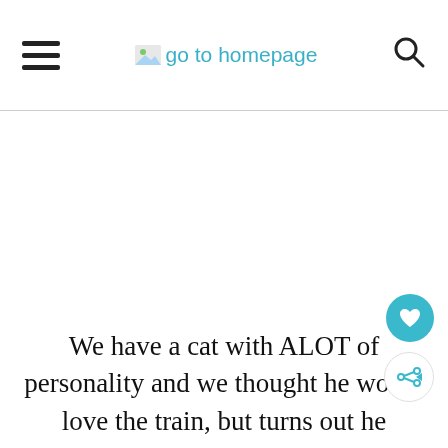go to homepage
[Figure (other): White blank ad/image area below header divider]
We have a cat with ALOT of personality and we thought he would love the train, but turns out he HATES it.  But I got a few cute pictures of him before we p the train out.